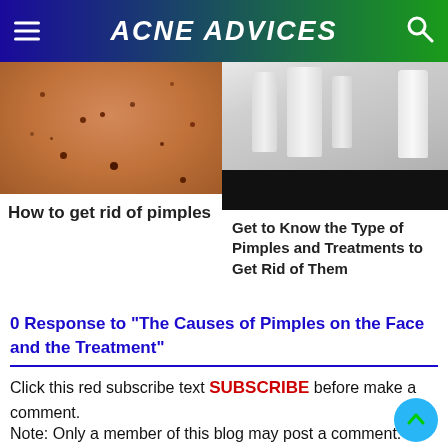ACNE ADVICES
[Figure (photo): Close-up photo of skin with pimples/blackheads]
How to get rid of pimples
[Figure (photo): Photo of skincare products/bottles with black bar at bottom]
Get to Know the Type of Pimples and Treatments to Get Rid of Them
0 Response to "The Causes of Pimples on the Face and the Treatment"
Click this red subscribe text SUBSCRIBE before make a comment.
Note: Only a member of this blog may post a comment.
To leave a comment, click the button below to sign in with Google.